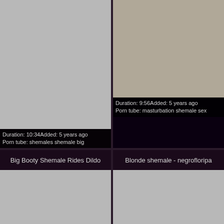[Figure (photo): Gray placeholder thumbnail, top-left video]
Duration: 10:34Added: 5 years ago
Porn tube: shemales shemale big
[Figure (photo): Photo of person in bikini top, top-right video thumbnail]
Duration: 9:56Added: 5 years ago
Porn tube: masturbation shemale sex
Big Booty Shemale Rides Dildo
Blonde shemale - negrofloripa
[Figure (photo): Gray placeholder thumbnail, bottom-left video]
[Figure (photo): Gray placeholder thumbnail, bottom-right video]